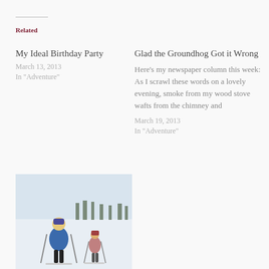Related
My Ideal Birthday Party
March 13, 2013
In "Adventure"
Glad the Groundhog Got it Wrong
Here’s my newspaper column this week: As I scrawl these words on a lovely evening, smoke from my wood stove wafts from the chimney and
March 19, 2013
In "Adventure"
[Figure (photo): Two children cross-country skiing on a snowy landscape with trees in the background]
Skiing, Friends, and Lake Superior. It doesn’t get any better.
March 25, 2013